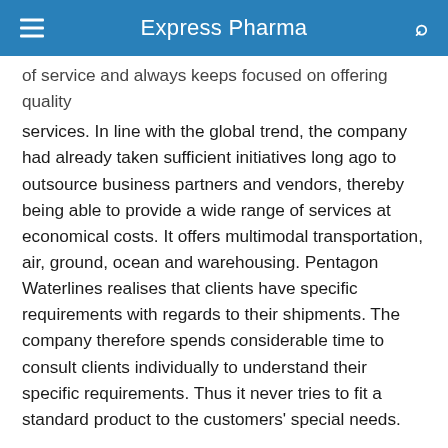Express Pharma
of service and always keeps focused on offering quality services. In line with the global trend, the company had already taken sufficient initiatives long ago to outsource business partners and vendors, thereby being able to provide a wide range of services at economical costs. It offers multimodal transportation, air, ground, ocean and warehousing. Pentagon Waterlines realises that clients have specific requirements with regards to their shipments. The company therefore spends considerable time to consult clients individually to understand their specific requirements. Thus it never tries to fit a standard product to the customers' special needs.
Pentagon Waterlines have the resources and the expertise to help compete more effectively.
The company follows a policy of recruiting and nurturing competent professionals with sufficient autonomy in day-to-day activities. Emphasis is put on prompt and effective service and emergency assistance is available 'round the clock.'